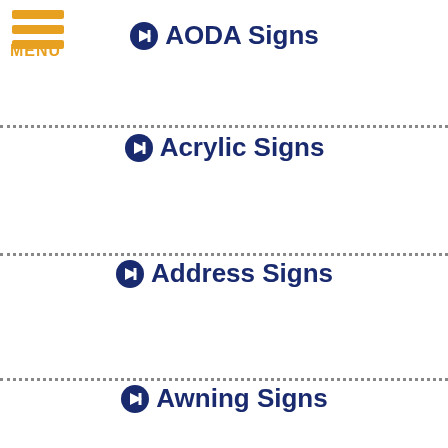[Figure (logo): Orange hamburger menu icon with three horizontal bars and MENU label below]
➡ AODA Signs
➡ Acrylic Signs
➡ Address Signs
➡ Awning Signs
➡ Banners
➡ Bar Signs
➡ Blade Signs
➡ Boat Wraps
➡ Building Signs
[Figure (infographic): Red spiky badge shape with white text 'We Offer Financing']
[Figure (infographic): Orange circle phone icon and orange circle email icon]